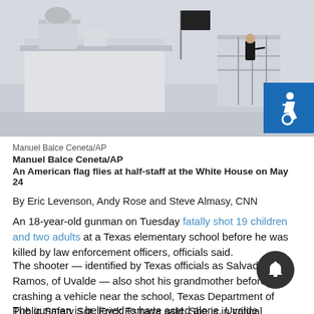[Figure (photo): A person stands on a rooftop near what appears to be the White House or a government building. A flag is visible flying at half-staff. The sky is overcast and grey.]
Manuel Balce Ceneta/AP
Manuel Balce Ceneta/AP
An American flag flies at half-staff at the White House on May 24
By Eric Levenson, Andy Rose and Steve Almasy, CNN
An 18-year-old gunman on Tuesday fatally shot 19 children and two adults at a Texas elementary school before he was killed by law enforcement officers, officials said.
The shooter — identified by Texas officials as Salvador Ramos, of Uvalde — also shot his grandmother before crashing a vehicle near the school, Texas Department of Public Safety Sgt. Erick Estrada said. She is in critical condition, he said.
The gunman is believed to have acted alone, Uvalde Consolidated Independent School District Police Chief Pete